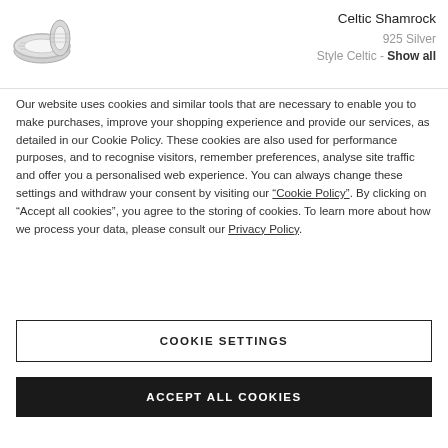[Figure (photo): Two Celtic Shamrock silver rings shown together]
Celtic Shamrock
925 Silver
Style Celtic - Show all
Our website uses cookies and similar tools that are necessary to enable you to make purchases, improve your shopping experience and provide our services, as detailed in our Cookie Policy. These cookies are also used for performance purposes, and to recognise visitors, remember preferences, analyse site traffic and offer you a personalised web experience. You can always change these settings and withdraw your consent by visiting our “Cookie Policy”. By clicking on “Accept all cookies”, you agree to the storing of cookies. To learn more about how we process your data, please consult our Privacy Policy.
COOKIE SETTINGS
ACCEPT ALL COOKIES